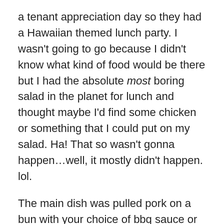a tenant appreciation day so they had a Hawaiian themed lunch party. I wasn't going to go because I didn't know what kind of food would be there but I had the absolute most boring salad in the planet for lunch and thought maybe I'd find some chicken or something that I could put on my salad. Ha! That so wasn't gonna happen…well, it mostly didn't happen. lol.
The main dish was pulled pork on a bun with your choice of bbq sauce or a honey something or other sauce. They had a vegetarian version which was a nasty boring looking veggie patties on the same buns with a cucumber dressing. Both were served with coleslaw and there was drinks and ice cream. I got the veggie pattie on the bun with some of the cucumber dressing, a tiny bit of the coleslaw and I couldn't resist – I got a small bit of the pork with some bbq sauce on the side. Ok…